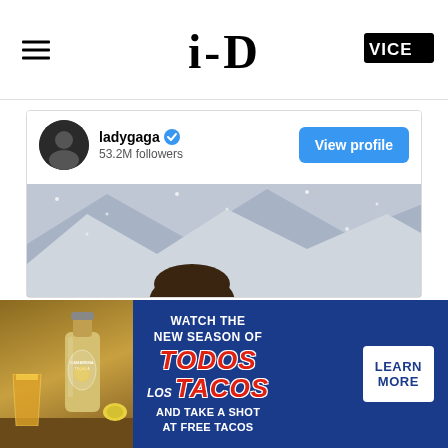i-D | VICE
[Figure (screenshot): Instagram profile card for ladygaga with 53.2M followers, verified badge, View profile button, and a photo of a man with glasses in a snowy mountain setting]
[Figure (infographic): Advertisement for Camarena Tequila: Watch the new season of Todos Los Tacos and take a shot at free tacos. Learn More button on blue background with tequila bottle image.]